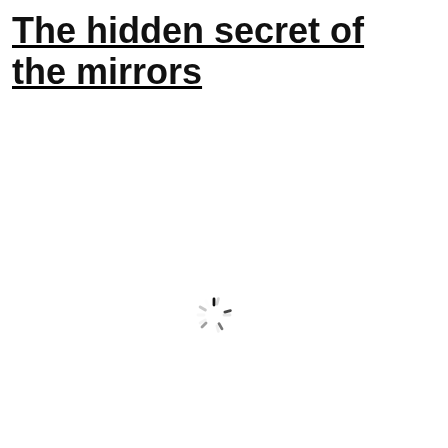The hidden secret of the mirrors
[Figure (other): A loading spinner icon (circular dashed spinner) centered in the lower-middle portion of the page]